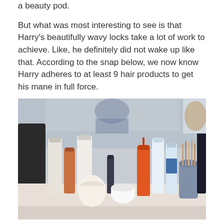a beauty pod.
But what was most interesting to see is that Harry's beautifully wavy locks take a lot of work to achieve. Like, he definitely did not wake up like that. According to the snap below, we now know Harry adheres to at least 9 hair products to get his mane in full force.
[Figure (photo): A photograph of a bathroom counter or shelf with numerous hair and beauty products arranged in a row, including bottles, jars, and containers of various sizes, with a mirror reflection in the background.]